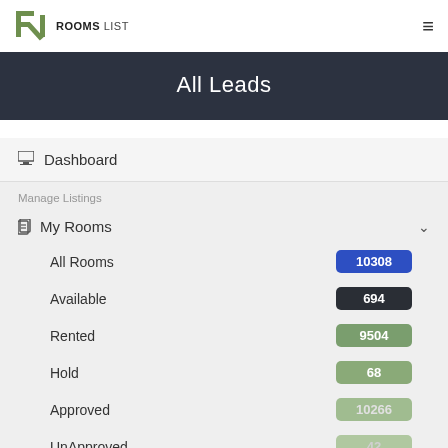ROOMS LIST
All Leads
Dashboard
Manage Listings
My Rooms
All Rooms  10308
Available  694
Rented  9504
Hold  68
Approved  10266
UnApproved  42
Trash  0